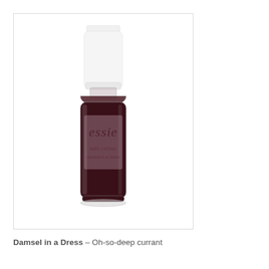[Figure (photo): A bottle of Essie nail polish in deep dark currant/burgundy color with a white rectangular cap, glass bottle with label showing 'essie' branding]
Damsel in a Dress – Oh-so-deep currant